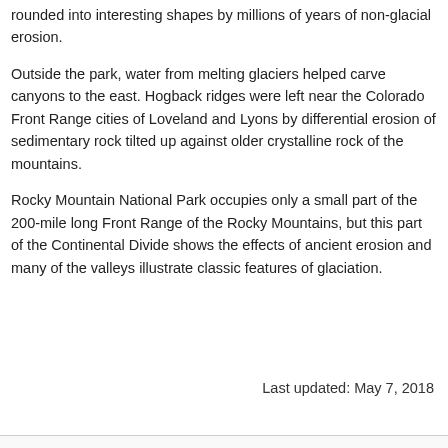rounded into interesting shapes by millions of years of non-glacial erosion.
Outside the park, water from melting glaciers helped carve canyons to the east. Hogback ridges were left near the Colorado Front Range cities of Loveland and Lyons by differential erosion of sedimentary rock tilted up against older crystalline rock of the mountains.
Rocky Mountain National Park occupies only a small part of the 200-mile long Front Range of the Rocky Mountains, but this part of the Continental Divide shows the effects of ancient erosion and many of the valleys illustrate classic features of glaciation.
Last updated: May 7, 2018